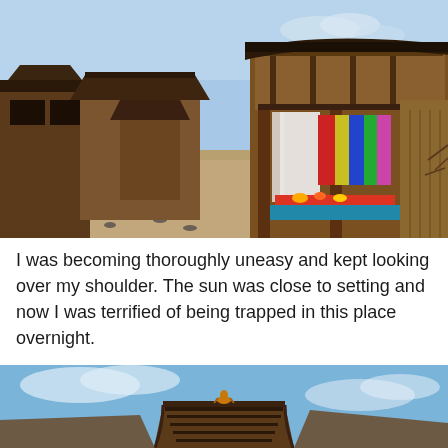[Figure (photo): A traditional East Asian (Korean/Chinese) wooden village or film set with wooden buildings, balconies, colorful fabric hangings, and stone-lined paths in winter/dry conditions under a blue sky.]
I was becoming thoroughly uneasy and kept looking over my shoulder. The sun was close to setting and now I was terrified of being trapped in this place overnight.
[Figure (photo): A traditional wooden East Asian building rooftop with decorative figure against a blue sky with clouds.]